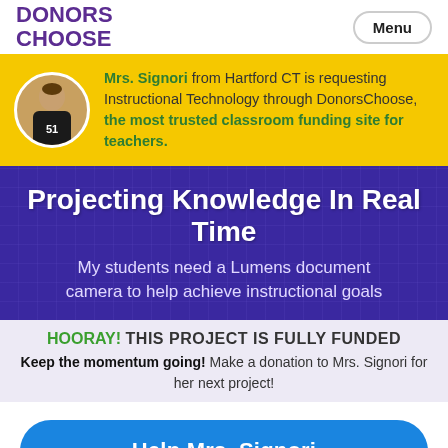DONORS CHOOSE | Menu
Mrs. Signori from Hartford CT is requesting Instructional Technology through DonorsChoose, the most trusted classroom funding site for teachers.
Projecting Knowledge In Real Time
My students need a Lumens document camera to help achieve instructional goals
HOORAY! THIS PROJECT IS FULLY FUNDED
Keep the momentum going! Make a donation to Mrs. Signori for her next project!
Help Mrs. Signori